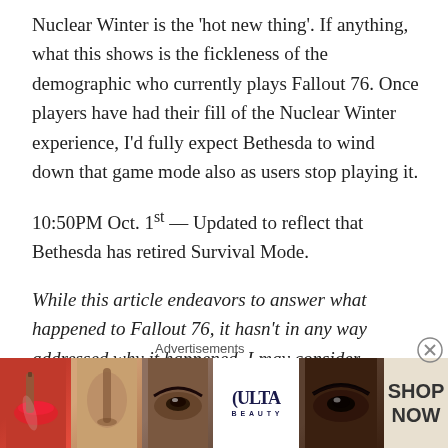Nuclear Winter is the 'hot new thing'. If anything, what this shows is the fickleness of the demographic who currently plays Fallout 76. Once players have had their fill of the Nuclear Winter experience, I'd fully expect Bethesda to wind down that game mode also as users stop playing it.
10:50PM Oct. 1st — Updated to reflect that Bethesda has retired Survival Mode.
While this article endeavors to answer what happened to Fallout 76, it hasn't in any way addressed why it happened. I may consider delving into this topic in the future if there's enough reader interest. Please comment below if you'd like to see this additional topic explored.
[Figure (other): Advertisement banner for ULTA beauty showing cosmetic close-up photos with 'SHOP NOW' text]